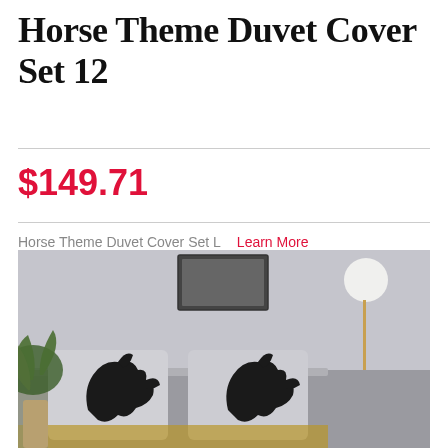Horse Theme Duvet Cover Set 12
$149.71
Horse Theme Duvet Cover Set L   Learn More
ADD TO CART
[Figure (photo): Bedroom scene with pillows featuring dark horse/dinosaur design on a bed, with a lamp on a white nightstand and a plant on the left side.]